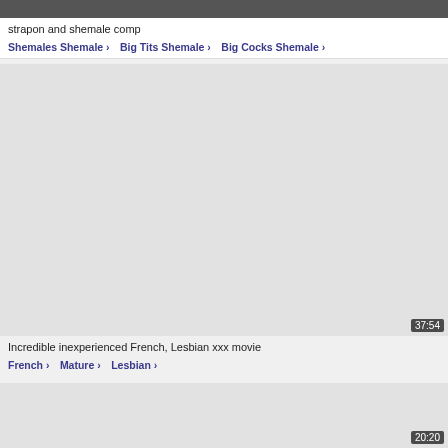[Figure (photo): Top partial video thumbnail strip, dark/grey tones]
strapon and shemale comp
Shemales Shemale >   Big Tits Shemale >   Big Cocks Shemale >
[Figure (photo): Large grey placeholder thumbnail for second video, duration 37:54]
Incredible inexperienced French, Lesbian xxx movie
French >   Mature >   Lesbian >
[Figure (photo): Third video thumbnail placeholder, partially visible, duration 20:20]